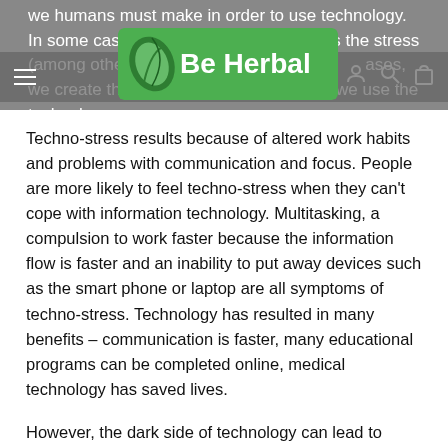we humans must make in order to use technology. In some cases, the technology itself creates the stress (among other things, it can be divisive); in other cases, we create the stress because of the way we use the technology.
[Figure (logo): Be Herbal logo with green leaf icon and white text on green background, overlaid on navigation bar]
Techno-stress results because of altered work habits and problems with communication and focus. People are more likely to feel techno-stress when they can't cope with information technology. Multitasking, a compulsion to work faster because the information flow is faster and an inability to put away devices such as the smart phone or laptop are all symptoms of techno-stress. Technology has resulted in many benefits – communication is faster, many educational programs can be completed online, medical technology has saved lives.
However, the dark side of technology can lead to decreased social and emotional skills as people interact with computers instead of other people; to a lack of privacy as technology allows companies and government to track how users interact with technology, and